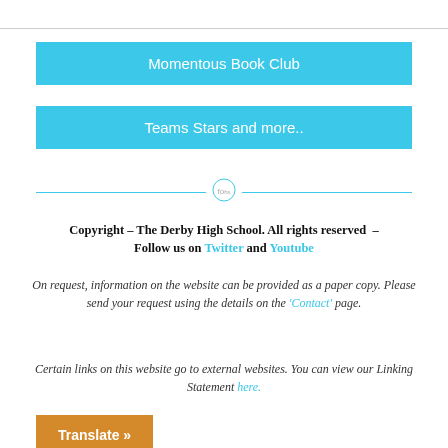Momentous Book Club
Teams Stars and more..
[Figure (other): Decorative divider with a small circular icon/logo in the center and horizontal lines on each side]
Copyright – The Derby High School. All rights reserved – Follow us on Twitter and Youtube
On request, information on the website can be provided as a paper copy. Please send your request using the details on the 'Contact' page.
Certain links on this website go to external websites. You can view our Linking Statement here.
Translate »